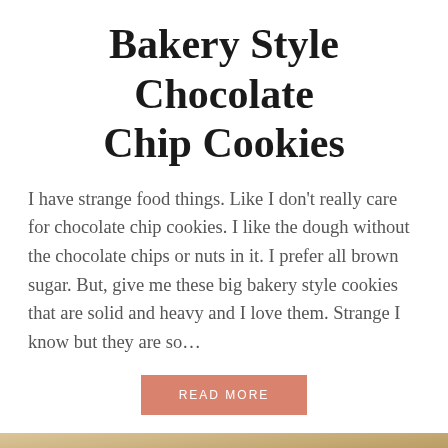Bakery Style Chocolate Chip Cookies
I have strange food things. Like I don't really care for chocolate chip cookies. I like the dough without the chocolate chips or nuts in it. I prefer all brown sugar. But, give me these big bakery style cookies that are solid and heavy and I love them. Strange I know but they are so...
READ MORE
[Figure (photo): Close-up photo of baked cookies or pastries on a baking pan, showing golden-brown baked goods.]